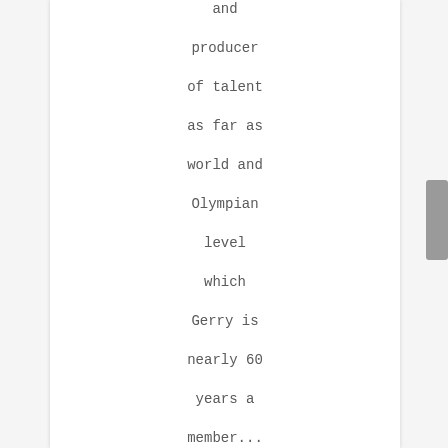and producer of talent as far as world and Olympian level which Gerry is nearly 60 years a member... now that's what you call